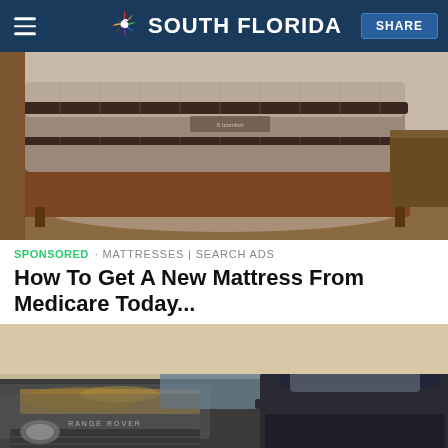NBC 6 SOUTH FLORIDA | SHARE
[Figure (photo): A mattress on a wooden bed frame in a bedroom, showing Serta or similar brand mattress with pillow-top surface]
SPONSORED · MATTRESSES | SEARCH ADS
How To Get A New Mattress From Medicare Today...
[Figure (photo): A dirty, dusty Range Rover SUV with debris on the hood, parked next to a dark blue SUV]